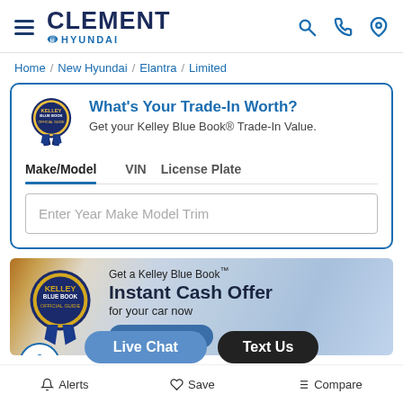[Figure (logo): Clement Hyundai dealership logo with hamburger menu icon on left and search, phone, location icons on right]
Home / New Hyundai / Elantra / Limited
[Figure (infographic): What's Your Trade-In Worth? widget with Kelley Blue Book badge, Make/Model VIN License Plate tabs, and Enter Year Make Model Trim input field]
[Figure (infographic): Kelley Blue Book Instant Cash Offer advertisement banner with GET MY OFFER button]
Hyundai Elantra Limited Cars For Sale Wentzville, MO
Alerts  Save  Compare